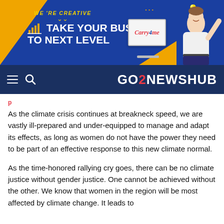[Figure (other): Advertisement banner for Carry4me: blue and orange background with text 'WE'RE CREATIVE', 'TAKE YOUR BUSINESS TO NEXT LEVEL', laptop showing Carry4me logo, and a man in white shirt pointing.]
GO2NEWSHUB
As the climate crisis continues at breakneck speed, we are vastly ill-prepared and under-equipped to manage and adapt its effects, as long as women do not have the power they need to be part of an effective response to this new climate normal.
As the time-honored rallying cry goes, there can be no climate justice without gender justice. One cannot be achieved without the other. We know that women in the region will be most affected by climate change. It leads to